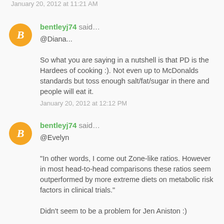January 20, 2012 at 11:21 AM
bentleyj74 said...
@Diana...

So what you are saying in a nutshell is that PD is the Hardees of cooking :). Not even up to McDonalds standards but toss enough salt/fat/sugar in there and people will eat it.

January 20, 2012 at 12:12 PM
bentleyj74 said...
@Evelyn

"In other words, I come out Zone-like ratios. However in most head-to-head comparisons these ratios seem outperformed by more extreme diets on metabolic risk factors in clinical trials."

Didn't seem to be a problem for Jen Aniston :)